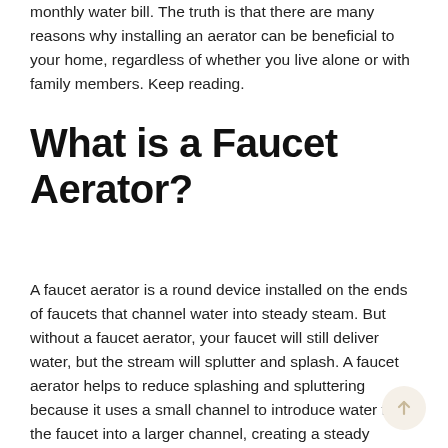monthly water bill. The truth is that there are many reasons why installing an aerator can be beneficial to your home, regardless of whether you live alone or with family members. Keep reading.
What is a Faucet Aerator?
A faucet aerator is a round device installed on the ends of faucets that channel water into steady steam. But without a faucet aerator, your faucet will still deliver water, but the stream will splutter and splash. A faucet aerator helps to reduce splashing and spluttering because it uses a small channel to introduce water from the faucet into a larger channel, creating a steady stream.